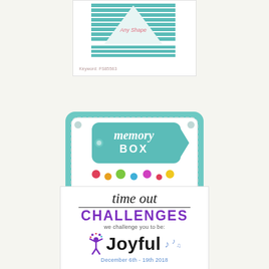[Figure (illustration): Top card with teal triangle and horizontal stripes, text 'Any Shape' overlaid, keyword text below]
[Figure (logo): Memory Box challenge card with teal background, white scalloped border, colorful dots, blue banner reading 'CHALLENGE HOLIDAY SPARKLE & SHINE']
[Figure (illustration): Time Out Challenges logo card: italic 'time out' text, bold purple 'CHALLENGES', 'we challenge you to be:', large 'Joyful' with figure and music notes, date 'December 6th - 19th 2018']